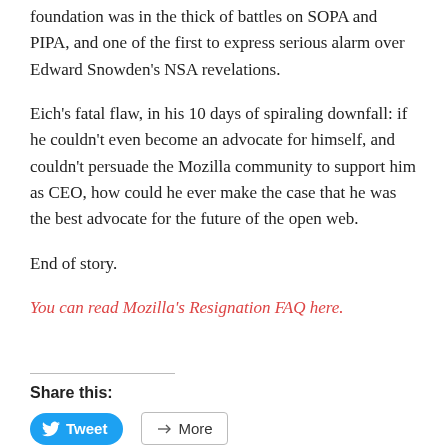foundation was in the thick of battles on SOPA and PIPA, and one of the first to express serious alarm over Edward Snowden's NSA revelations.
Eich's fatal flaw, in his 10 days of spiraling downfall: if he couldn't even become an advocate for himself, and couldn't persuade the Mozilla community to support him as CEO, how could he ever make the case that he was the best advocate for the future of the open web.
End of story.
You can read Mozilla's Resignation FAQ here.
Share this:
[Figure (other): Tweet and More share buttons]